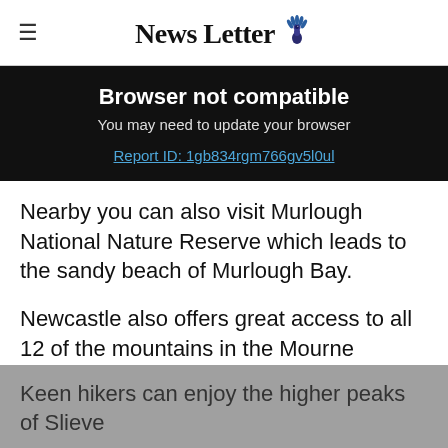News Letter
Browser not compatible
You may need to update your browser
Report ID: 1gb834rgm766gv5l0ul
Nearby you can also visit Murlough National Nature Reserve which leads to the sandy beach of Murlough Bay.
Newcastle also offers great access to all 12 of the mountains in the Mourne Mountain range.
Keen hikers can enjoy the higher peaks of Slieve